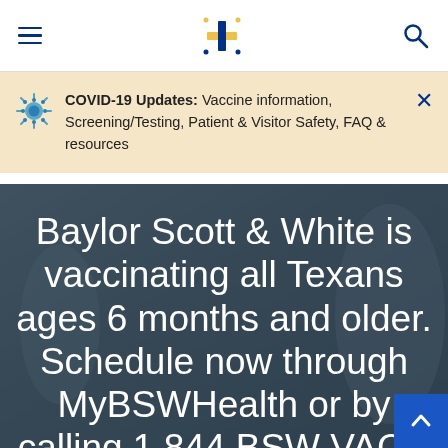Baylor Scott & White Health navigation bar with menu and search icons
COVID-19 Updates: Vaccine information, Screening/Testing, Patient & Visitor Safety, FAQ & resources
Baylor Scott & White is vaccinating all Texans ages 6 months and older. Schedule now through MyBSWHealth or by calling 1 844 BSW VACC